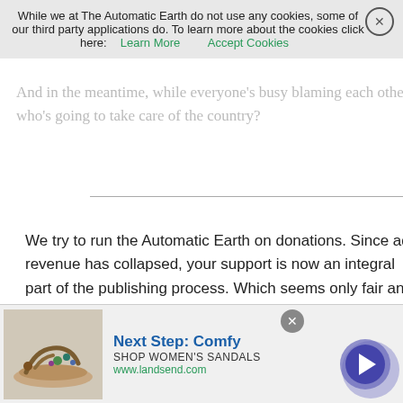While we at The Automatic Earth do not use any cookies, some of our third party applications do. To learn more about the cookies click here: Learn More  Accept Cookies
And in the meantime, while everyone's busy blaming each other, who's going to take care of the country?
We try to run the Automatic Earth on donations. Since ad revenue has collapsed, your support is now an integral part of the publishing process. Which seems only fair and just.
Thank you.
[Figure (other): Advertisement banner for Lands End: Next Step: Comfy, Shop Women's Sandals, www.landsend.com with a sandal image and arrow button]